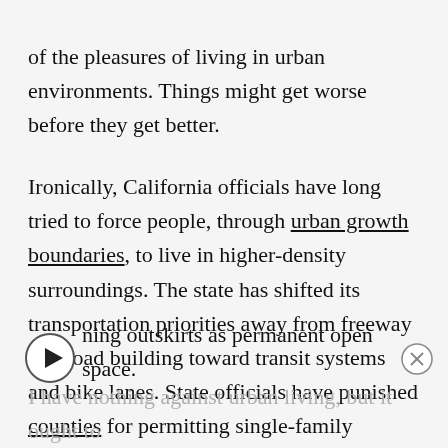of the pleasures of living in urban environments. Things might get worse before they get better.
Ironically, California officials have long tried to force people, through urban growth boundaries, to live in higher-density surroundings. The state has shifted its transportation priorities away from freeway and road building toward transit systems and bike lanes. State officials have punished counties for permitting single-family suburban-style developments. The goal is cram more people into the existing urban footprint — and leave the [remaining] outskirts as permanent open space.
I have nothing against urban living, but it ought to